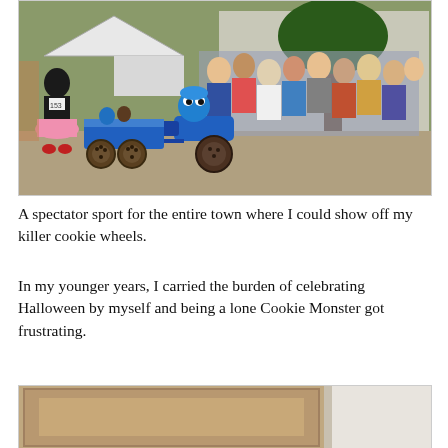[Figure (photo): Outdoor parade or festival scene. A child dressed as Cookie Monster rides a blue toy scooter/trike pulling a wagon with cookie wheels decorated in blue, with stuffed figures in the wagon. A crowd of spectators lines the background under a large tree and near buildings.]
A spectator sport for the entire town where I could show off my killer cookie wheels.
In my younger years, I carried the burden of celebrating Halloween by myself and being a lone Cookie Monster got frustrating.
[Figure (photo): Partial photo showing what appears to be a door or cabinet panel, with a lighter panel on the right side. Bottom of page, partially cut off.]